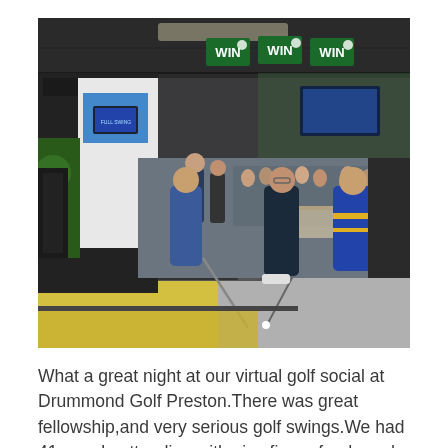[Figure (photo): Indoor golf exhibition or event showing several people standing in a large hall with golf simulators and booths. A man in the center is holding a golf club and appears to be about to putt on an indoor putting mat. Banners reading 'WIN' hang from the ceiling. Various golf equipment and bags are visible. The setting appears to be a golf trade show or demo event at Drummond Golf Preston.]
What a great night at our virtual golf social at Drummond Golf Preston.There was great fellowship,and very serious golf swings.We had 41 people attending,with nice finger foods and drinks